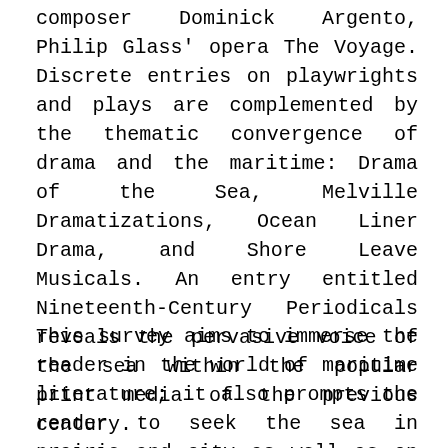composer Dominick Argento, Philip Glass' opera The Voyage. Discrete entries on playwrights and plays are complemented by the thematic convergence of drama and the maritime: Drama of the Sea, Melville Dramatizations, Ocean Liner Drama, and Shore Leave Musicals. An entry entitled Nineteenth-Century Periodicals reveals the pervasive voice of the sea within the popular print media of the previous century.
This survey aims to immerse the reader in the world of maritime literature; it also prompts the reader to seek the sea in prairie and city as well as on the coast or